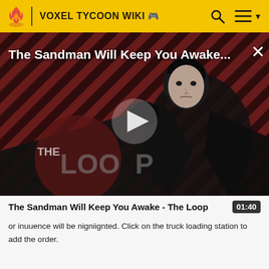VOXEL TYCOON WIKI
[Figure (screenshot): Video thumbnail showing The Sandman character in black costume against red and black diagonal striped background with 'THE LOOP' logo watermark and a play button overlay. Title text reads 'The Sandman Will Keep You Awake...' with an X close button.]
The Sandman Will Keep You Awake - The Loop
or inuuence will be nigniignted. Click on the truck loading station to add the order.